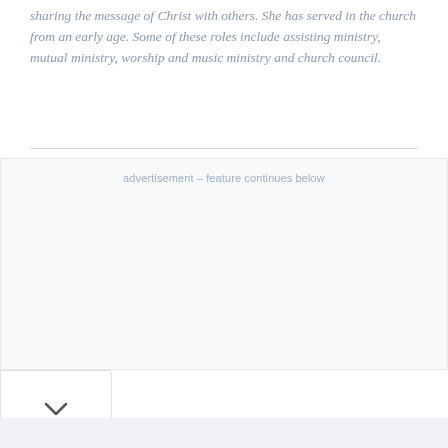sharing the message of Christ with others. She has served in the church from an early age. Some of these roles include assisting ministry, mutual ministry, worship and music ministry and church council.
[Figure (other): Advertisement placeholder box with label 'advertisement – feature continues below' and a collapse/chevron button at the bottom left]